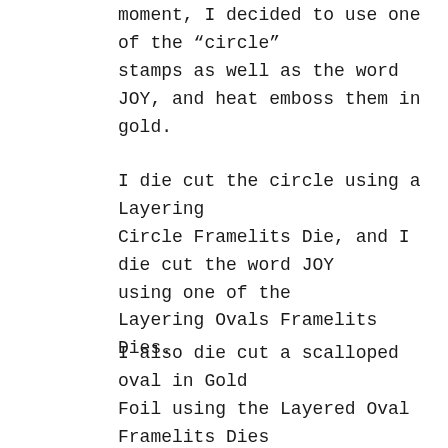moment, I decided to use one of the "circle" stamps as well as the word JOY, and heat emboss them in gold.
I die cut the circle using a Layering Circle Framelits Die, and I die cut the word JOY using one of the Layering Ovals Framelits Dies.
I also die cut a scalloped oval in Gold Foil using the Layered Oval Framelits Dies again, and adhered JOY onto it.
To build my card I adhered a layer of Gold Foil to a Whisper White CS...